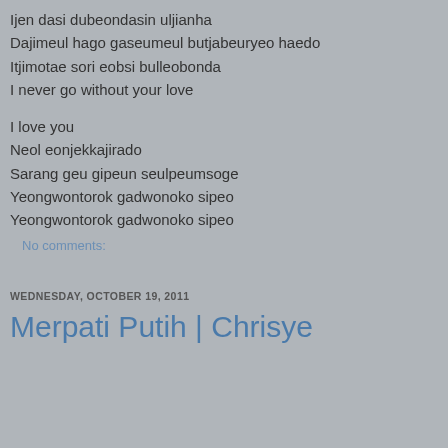Ijen dasi dubeondasin uljianha
Dajimeul hago gaseumeul butjabeuryeo haedo
Itjimotae sori eobsi bulleobonda
I never go without your love

I love you
Neol eonjekkajirado
Sarang geu gipeun seulpeumsoge
Yeongwontorok gadwonoko sipeo
Yeongwontorok gadwonoko sipeo
No comments:
WEDNESDAY, OCTOBER 19, 2011
Merpati Putih | Chrisye